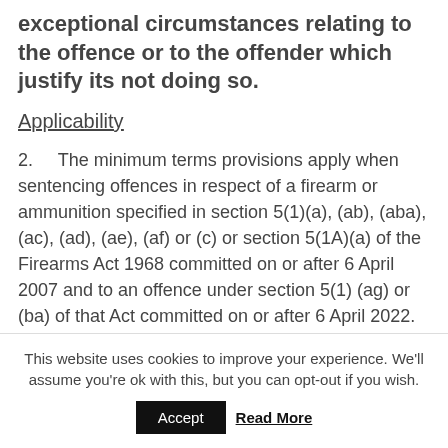exceptional circumstances relating to the offence or to the offender which justify its not doing so.
Applicability
2.     The minimum terms provisions apply when sentencing offences in respect of a firearm or ammunition specified in section 5(1)(a), (ab), (aba), (ac), (ad), (ae), (af) or (c) or section 5(1A)(a) of the Firearms Act 1968 committed on or after 6 April 2007 and to an offence under section 5(1) (ag) or (ba) of that Act committed on or after 6 April 2022. Note: the minimum term provisions
This website uses cookies to improve your experience. We'll assume you're ok with this, but you can opt-out if you wish.
Accept   Read More